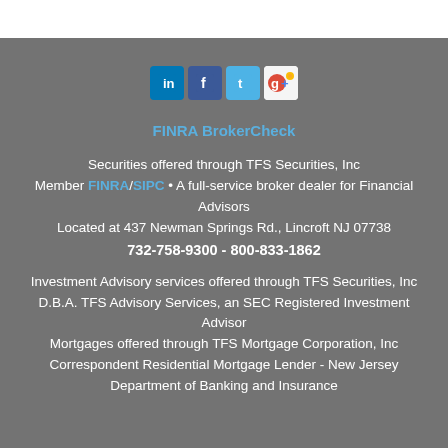[Figure (other): Social media icons: LinkedIn, Facebook, Twitter, Google+]
FINRA BrokerCheck
Securities offered through TFS Securities, Inc
Member FINRA/SIPC • A full-service broker dealer for Financial Advisors
Located at 437 Newman Springs Rd., Lincroft NJ 07738
732-758-9300 - 800-833-1862
Investment Advisory services offered through TFS Securities, Inc D.B.A. TFS Advisory Services, an SEC Registered Investment Advisor
Mortgages offered through TFS Mortgage Corporation, Inc
Correspondent Residential Mortgage Lender - New Jersey Department of Banking and Insurance